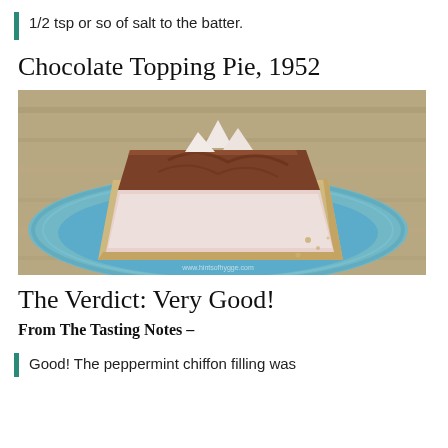1/2 tsp or so of salt to the batter.
Chocolate Topping Pie, 1952
[Figure (photo): A slice of chocolate topping pie with a light pinkish-white chiffon filling, chocolate layer on top, and a graham cracker crust, served on a blue plate on a wooden table. Watermark: www.hintsofhygge.com]
The Verdict: Very Good!
From The Tasting Notes –
Good! The peppermint chiffon filling was